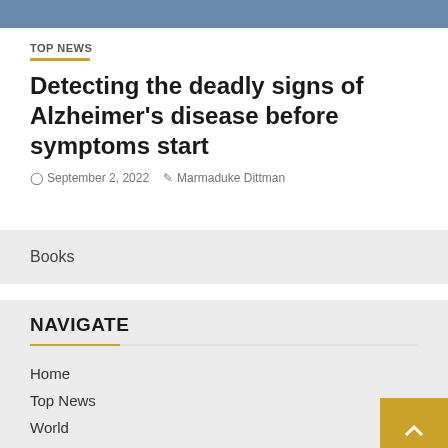[Figure (photo): Partial view of a person wearing blue clothing — cropped photo strip at top of page]
TOP NEWS
Detecting the deadly signs of Alzheimer's disease before symptoms start
September 2, 2022   Marmaduke Dittman
Books
NAVIGATE
Home
Top News
World
Economy